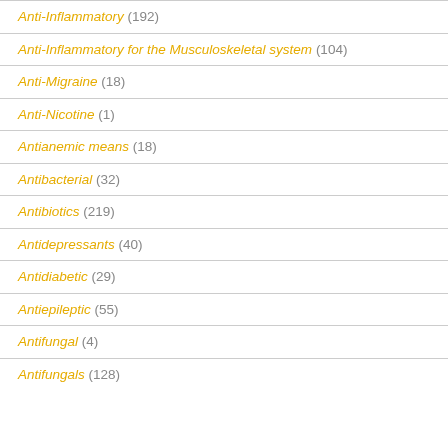Anti-Inflammatory (192)
Anti-Inflammatory for the Musculoskeletal system (104)
Anti-Migraine (18)
Anti-Nicotine (1)
Antianemic means (18)
Antibacterial (32)
Antibiotics (219)
Antidepressants (40)
Antidiabetic (29)
Antiepileptic (55)
Antifungal (4)
Antifungals (128)